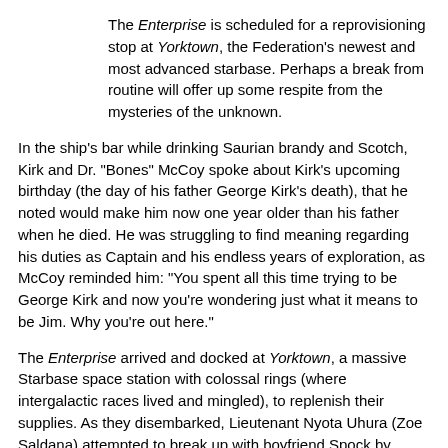The Enterprise is scheduled for a reprovisioning stop at Yorktown, the Federation's newest and most advanced starbase. Perhaps a break from routine will offer up some respite from the mysteries of the unknown.
In the ship's bar while drinking Saurian brandy and Scotch, Kirk and Dr. "Bones" McCoy spoke about Kirk's upcoming birthday (the day of his father George Kirk's death), that he noted would make him now one year older than his father when he died. He was struggling to find meaning regarding his duties as Captain and his endless years of exploration, as McCoy reminded him: "You spent all this time trying to be George Kirk and now you're wondering just what it means to be Jim. Why you're out here."
The Enterprise arrived and docked at Yorktown, a massive Starbase space station with colossal rings (where intergalactic races lived and mingled), to replenish their supplies. As they disembarked, Lieutenant Nyota Uhura (Zoe Saldana) attempted to break up with boyfriend Spock by giving back the gift of a necklace-amulet, but he refused ("It is not in the Vulcan custom"). Spock was informed by Vulcan ambassadors that Ambassador Spock Prime, his older self and Alternate Reality counterpart from the original timeline, had died. Helmsman Lieut. Hikaru Sulu (John Cho) also greeted his spouse-husband-partner Ben (Doug Jung) and their young daughter.
Out in space, a small incoming vessel - an unidentified, non-Federation spacecraft, was detected by the Yorktown Starbase, as it drifted out of